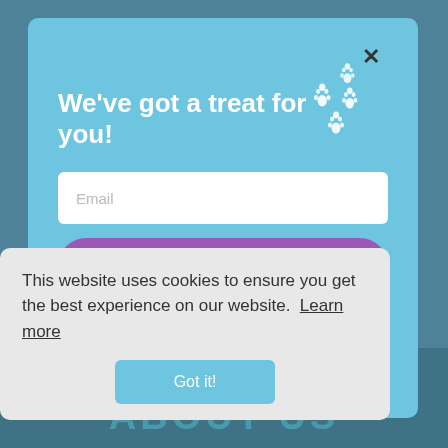[Figure (screenshot): Website popup modal with light blue background showing a promotional email signup offer with paw print decorations, email input field, purple CTA button, and decline option]
We've got a treat for you!
Email
Take $5 off your first order
By signing up, you agree to receive email marketing
No thanks, I don't like treats.
This website uses cookies to ensure you get the best experience on our website. Learn more
Got it!